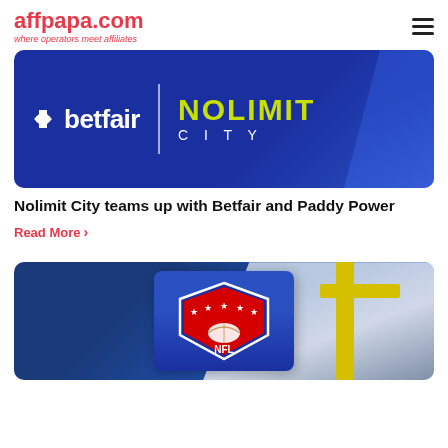affpapa.com — where operators meet affiliates
[Figure (photo): Betfair and Nolimit City co-branded banner on dark blue background]
Nolimit City teams up with Betfair and Paddy Power
Read More ›
[Figure (photo): NFL logo on inflatable bumper pad in a stadium with goalpost visible]